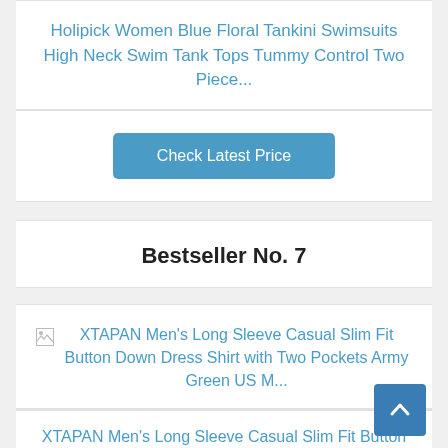Holipick Women Blue Floral Tankini Swimsuits High Neck Swim Tank Tops Tummy Control Two Piece...
Check Latest Price
Bestseller No. 7
[Figure (other): Broken image icon for XTAPAN Men's Long Sleeve Casual Slim Fit Button Down Dress Shirt with Two Pockets Army Green US M...]
XTAPAN Men's Long Sleeve Casual Slim Fit Button Down Dress Shirt with Two Pockets Army